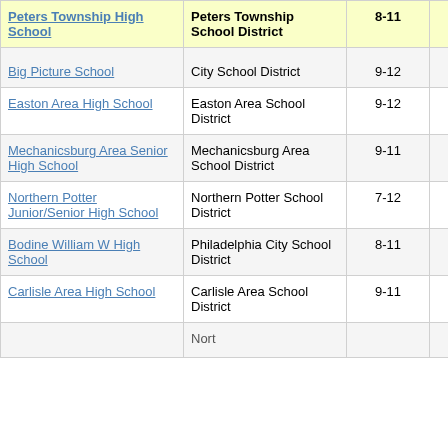| School | District | Grades | Value |
| --- | --- | --- | --- |
| Peters Township High School | Peters Township School District | 8-11 | 17.5 |
| Big Picture School | City School District | 9-12 | -6.7 |
| Easton Area High School | Easton Area School District | 9-12 | -3.7 |
| Mechanicsburg Area Senior High School | Mechanicsburg Area School District | 9-11 | -5.8 |
| Northern Potter Junior/Senior High School | Northern Potter School District | 7-12 | -11.9 |
| Bodine William W High School | Philadelphia City School District | 8-11 | -5.1 |
| Carlisle Area High School | Carlisle Area School District | 9-11 | -5.0 |